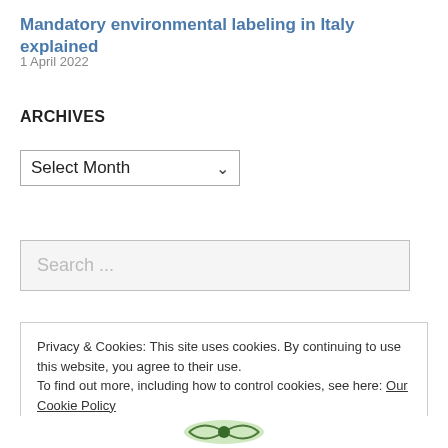Mandatory environmental labeling in Italy explained
1 April 2022
ARCHIVES
[Figure (screenshot): Dropdown select box showing 'Select Month' with a down arrow]
[Figure (screenshot): Search input field with placeholder text 'Search ...']
Privacy & Cookies: This site uses cookies. By continuing to use this website, you agree to their use.
To find out more, including how to control cookies, see here: Our Cookie Policy
[Figure (screenshot): Close and accept button in cookie banner]
[Figure (logo): Partial logo image at the bottom of the page]